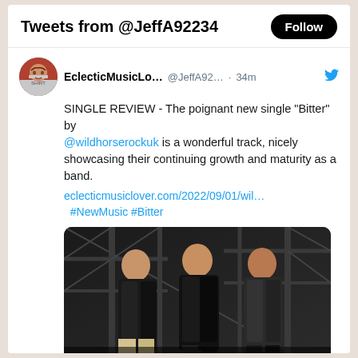Tweets from @JeffA92234
EclecticMusicLo... @JeffA92... · 34m
SINGLE REVIEW - The poignant new single "Bitter" by @wildhorserockuk is a wonderful track, nicely showcasing their continuing growth and maturity as a band.
eclecticmusiclover.com/2022/09/01/wil...
#NewMusic #Bitter
[Figure (photo): Three young men in dark leather jackets standing in front of metal scaffolding, band photo for wildhorserockuk]